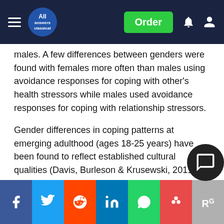All Answers Classical — Order
males. A few differences between genders were found with females more often than males using avoidance responses for coping with other's health stressors while males used avoidance responses for coping with relationship stressors.
Gender differences in coping patterns at emerging adulthood (ages 18-25 years) have been found to reflect established cultural qualities (Davis, Burleson & Krusewski, 2011; Kim & Sasaki, 2014) with endorsement of masculinity as a significant predictor in problem-oriented coping (Lipinska-Grobelny, 2011). A recent decline in female gender depressive symptoms in emerging adults is thought to be associated with greater autonomy and empowerment (Frye & Liem, 2011) although in general females had been found to have higher emotional coping than men (
Share bar: Facebook, Twitter, Reddit, LinkedIn, WhatsApp, Mendeley, ResearchGate